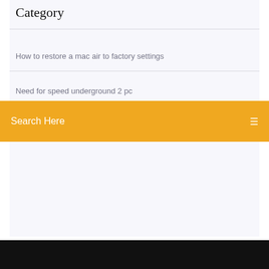Category
How to restore a mac air to factory settings
Need for speed underground 2 pc
Search Here